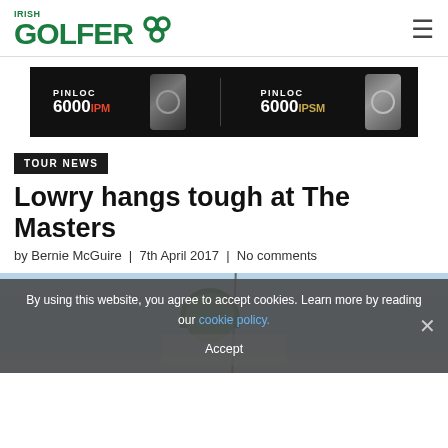Irish Golfer
[Figure (photo): Pinloc 6000 IPM and 6000 IPSM rangefinder advertisement banner]
TOUR NEWS
Lowry hangs tough at The Masters
by Bernie McGuire | 7th April 2017 | No comments
[Figure (photo): Golfer (Shane Lowry) at The Masters, partial photo with light blue sky background and golf club visible]
By using this website, you agree to accept cookies. Learn more by reading our cookie policy.